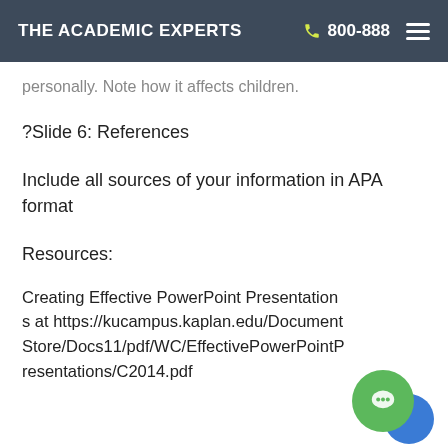THE ACADEMIC EXPERTS   800-888
personally. Note how it affects children.
?Slide 6: References
Include all sources of your information in APA format
Resources:
Creating Effective PowerPoint Presentations at https://kucampus.kaplan.edu/DocumentStore/Docs11/pdf/WC/EffectivePowerPointPresentations/C2014.pdf